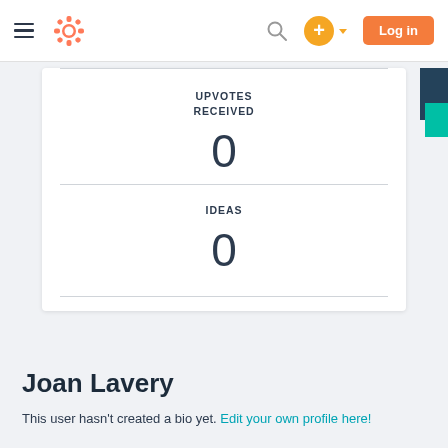HubSpot Community — Navigation bar with hamburger menu, logo, search, add button, and Log in button
UPVOTES RECEIVED
0
IDEAS
0
Joan Lavery
This user hasn't created a bio yet. Edit your own profile here!